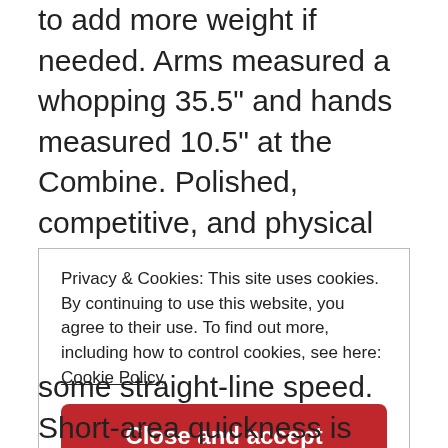to add more weight if needed. Arms measured a whopping 35.5" and hands measured 10.5" at the Combine. Polished, competitive, and physical offensive lineman who plays with a desirable temperament; works through the whistle on a consistent basis. Was asked to execute a lot of different types of blocking assignments. More of a gritty/workmanlike wall-off blocker than a true mauler in the run game. Plays with good leverage
Privacy & Cookies: This site uses cookies. By continuing to use this website, you agree to their use. To find out more, including how to control cookies, see here: Cookie Policy
Close and accept
some straight-line speed. Short-area quickness is